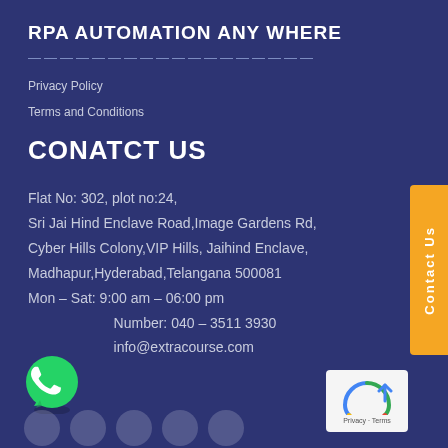RPA AUTOMATION ANY WHERE
——————————————————
Privacy Policy
Terms and Conditions
CONATCT US
Flat No: 302, plot no:24,
Sri Jai Hind Enclave Road,Image Gardens Rd,
Cyber Hills Colony,VIP Hills, Jaihind Enclave,
Madhapur,Hyderabad,Telangana 500081
Mon – Sat: 9:00 am – 06:00 pm
Number: 040 – 3511 3930
info@extracourse.com